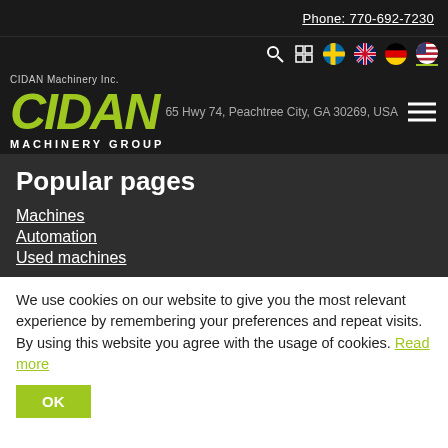Phone: 770-692-7230
[Figure (logo): CIDAN Machinery Group logo with green italic CIDAN text on dark background, with address overlay: 65 Hwy 74, Peachtree City, GA 30269, USA]
Popular pages
Machines
Automation
Used machines
We use cookies on our website to give you the most relevant experience by remembering your preferences and repeat visits. By using this website you agree with the usage of cookies. Read more
OK